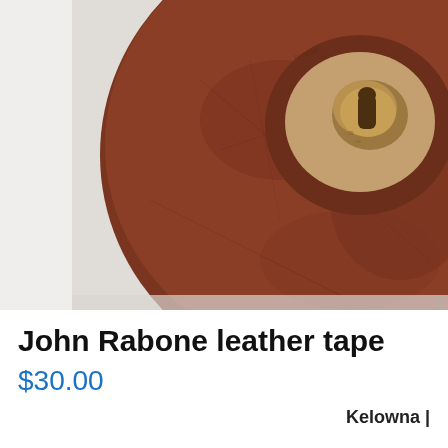[Figure (photo): Close-up photo of a John Rabone leather tape measure, showing the brown leather casing with a brass winding mechanism in the center, placed on a light gray surface. A metal wire clip is visible on the right edge.]
John Rabone leather tape
$30.00
Kelowna |